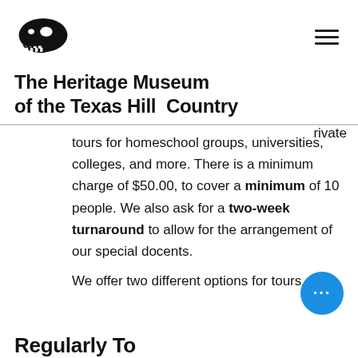[Figure (logo): Dinosaur skull logo for The Heritage Museum of the Texas Hill Country]
The Heritage Museum of the Texas Hill Country
...rivate tours for homeschool groups, universities, colleges, and more. There is a minimum charge of $50.00, to cover a minimum of 10 people. We also ask for a two-week turnaround to allow for the arrangement of our special docents.
We offer two different options for tours.
Regularly To...